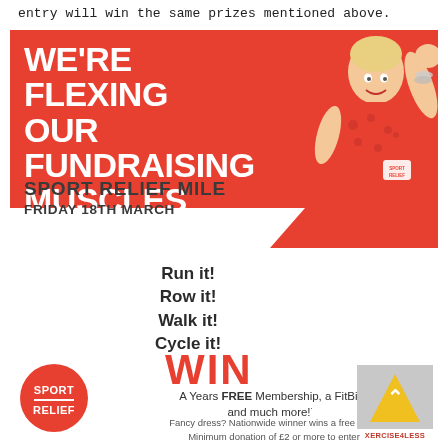entry will win the same prizes mentioned above.
[Figure (illustration): Sport Relief Mile fundraising advertisement. Red background with large white bold text reading WE'RE FLEXING OUR FUNDRAISING MUSCLES. Below in dark text: SPORT RELIEF MILE, FRIDAY 18TH MARCH. A blond man in a red Sport Relief shirt flexes his arm enthusiastically on the right side. Lower white section shows activity options: Run it! Row it! Walk it! Cycle it! in bold dark text, then WIN in large red text. Prize text: A Years FREE Membership, a FitBit and much more! Fancy dress? Nationwide winner wins a free year! Minimum donation of £2 or more to enter. Sport Relief circular red logo bottom left. Xercise4Less logo bottom right.]